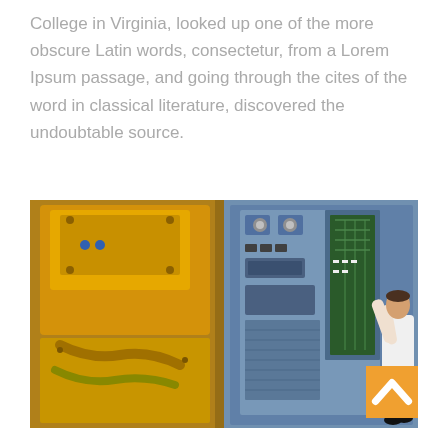College in Virginia, looked up one of the more obscure Latin words, consectetur, from a Lorem Ipsum passage, and going through the cites of the word in classical literature, discovered the undoubtable source.
[Figure (photo): Industrial engineering photo showing on the left a yellow diesel generator or industrial machine up close, and on the right a technician in a white shirt working on a large blue electrical control panel with circuit boards and wiring. An orange scroll-to-top button with an upward arrow is visible in the bottom-right corner of the image.]